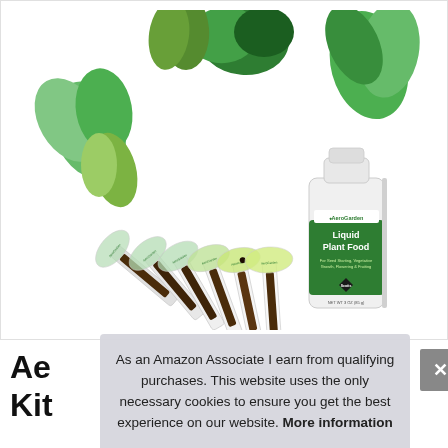[Figure (photo): AeroGarden seed pod kit with multiple seed pods showing green herbs growing above them (mint, thyme, parsley, dill, basil) and a white bottle of AeroGarden Liquid Plant Food on the right side]
Ae
Kit
As an Amazon Associate I earn from qualifying purchases. This website uses the only necessary cookies to ensure you get the best experience on our website. More information